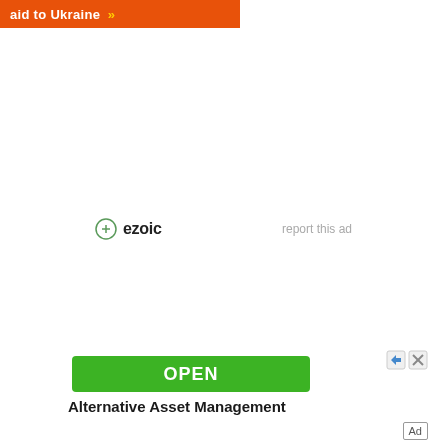[Figure (other): Orange banner with white bold text 'aid to Ukraine' and yellow double-arrow '>>' icon on right]
[Figure (logo): Ezoic logo with circular icon and bold text 'ezoic', with 'report this ad' link to the right]
[Figure (other): Advertisement unit with green OPEN button, close/skip icons, and text 'Alternative Asset Management' below. 'Ad' label in bottom right corner.]